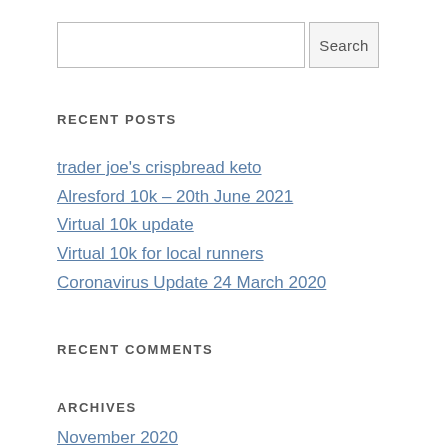RECENT POSTS
trader joe's crispbread keto
Alresford 10k – 20th June 2021
Virtual 10k update
Virtual 10k for local runners
Coronavirus Update 24 March 2020
RECENT COMMENTS
ARCHIVES
November 2020